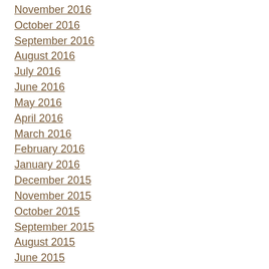November 2016
October 2016
September 2016
August 2016
July 2016
June 2016
May 2016
April 2016
March 2016
February 2016
January 2016
December 2015
November 2015
October 2015
September 2015
August 2015
June 2015
May 2015
April 2015